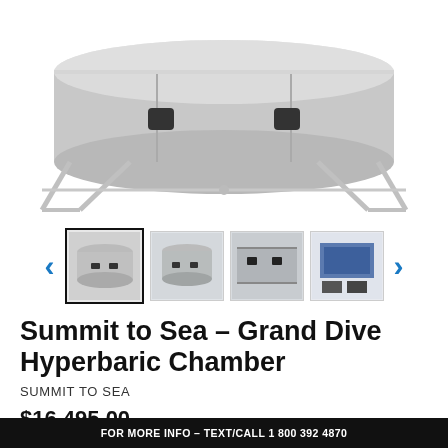[Figure (photo): Main product image of Summit to Sea Grand Dive Hyperbaric Chamber - a large cylindrical hyperbaric chamber with metal frame stand, shown from front/side angle on white background]
[Figure (photo): Thumbnail carousel with navigation arrows and 4 thumbnail images of the hyperbaric chamber from different angles: front view (selected/active), angled front view, side/detail view, and accessory/kit view]
Summit to Sea - Grand Dive Hyperbaric Chamber
SUMMIT TO SEA
$16,495.00
FOR MORE INFO - TEXT/CALL 1 800 392 4870